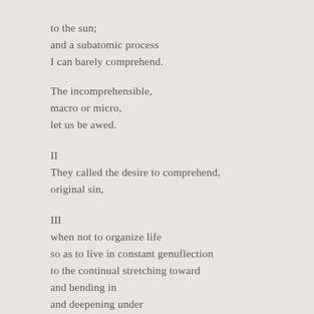to the sun;
and a subatomic process
I can barely comprehend.
The incomprehensible,
macro or micro,
let us be awed.
II
They called the desire to comprehend,
original sin,
III
when not to organize life
so as to live in constant genuflection
to the continual stretching toward
and bending in
and deepening under
and untangling of —
that
seems the true wrong.